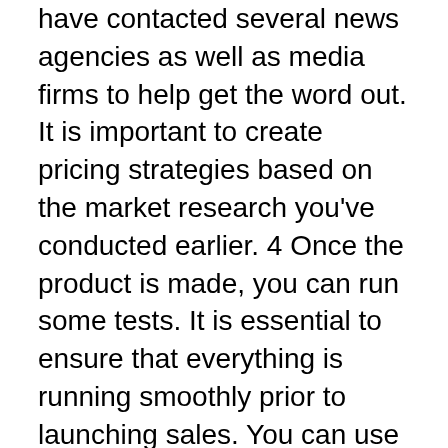have contacted several news agencies as well as media firms to help get the word out. It is important to create pricing strategies based on the market research you've conducted earlier. 4 Once the product is made, you can run some tests. It is essential to ensure that everything is running smoothly prior to launching sales. You can use the SAAS to start your company and then look into the issues you find. During this stage you will also need to have an idea of how the subscriptions are working. 5 Once you've passed this point, you'll start getting queries from leads in the business. Companies interested in your services will reach out to find out more about the services